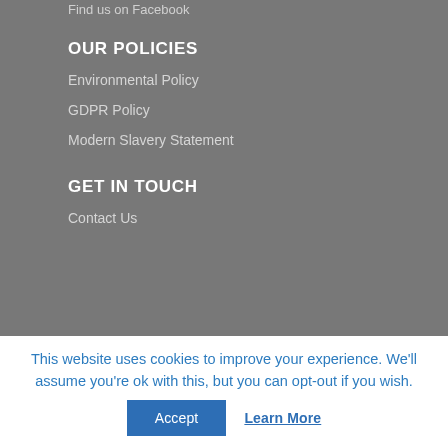Find us on Facebook
OUR POLICIES
Environmental Policy
GDPR Policy
Modern Slavery Statement
GET IN TOUCH
Contact Us
This website uses cookies to improve your experience. We'll assume you're ok with this, but you can opt-out if you wish.
Accept
Learn More